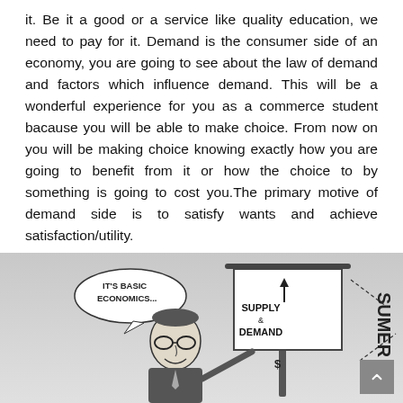it. Be it a good or a service like quality education, we need to pay for it. Demand is the consumer side of an economy, you are going to see about the law of demand and factors which influence demand. This will be a wonderful experience for you as a commerce student bacause you will be able to make choice. From now on you will be making choice knowing exactly how you are going to benefit from it or how the choice to by something is going to cost you.The primary motive of demand side is to satisfy wants and achieve satisfaction/utility.
[Figure (illustration): A black and white cartoon illustration showing a man with glasses holding a sign that reads 'Supply & Demand' with a dollar sign below. A speech bubble says 'It's Basic Economics...' The word 'CONSUMER' appears partially on the right side.]